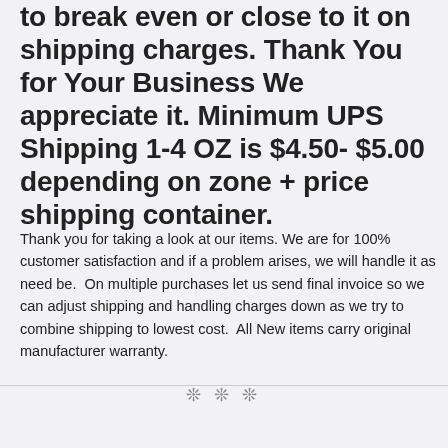to break even or close to it on shipping charges. Thank You for Your Business We appreciate it. Minimum UPS Shipping 1-4 OZ is $4.50- $5.00 depending on zone + price shipping container.
Thank you for taking a look at our items. We are for 100% customer satisfaction and if a problem arises, we will handle it as need be.  On multiple purchases let us send final invoice so we can adjust shipping and handling charges down as we try to combine shipping to lowest cost.  All New items carry original manufacturer warranty.